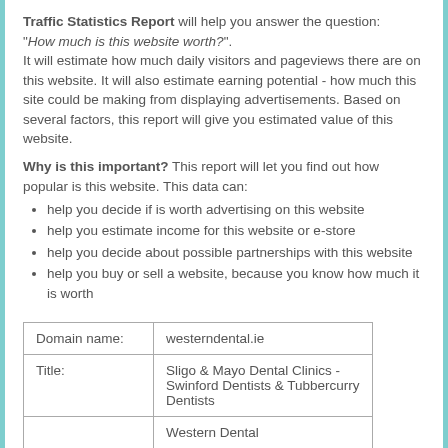Traffic Statistics Report will help you answer the question: "How much is this website worth?". It will estimate how much daily visitors and pageviews there are on this website. It will also estimate earning potential - how much this site could be making from displaying advertisements. Based on several factors, this report will give you estimated value of this website.
Why is this important? This report will let you find out how popular is this website. This data can:
help you decide if is worth advertising on this website
help you estimate income for this website or e-store
help you decide about possible partnerships with this website
help you buy or sell a website, because you know how much it is worth
|  |  |
| --- | --- |
| Domain name: | westerndental.ie |
| Title: | Sligo & Mayo Dental Clinics - Swinford Dentists & Tubbercurry Dentists |
|  | Western Dental |